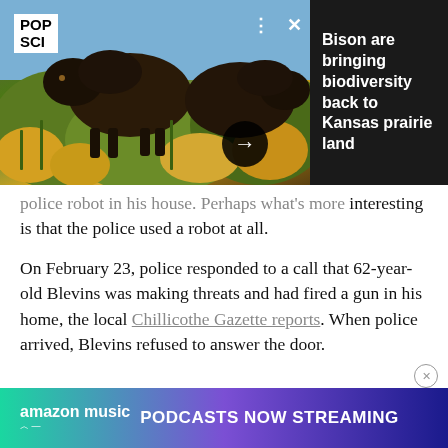[Figure (photo): Pop-up article card from Popular Science showing bison in yellow wildflower prairie. Logo 'POP SCI' in top left, dark panel on right with headline 'Bison are bringing biodiversity back to Kansas prairie land', arrow button and close/menu controls visible.]
police robot in his house. Perhaps what's more interesting is that the police used a robot at all.
On February 23, police responded to a call that 62-year-old Blevins was making threats and had fired a gun in his home, the local Chillicothe Gazette reports. When police arrived, Blevins refused to answer the door.
[Figure (infographic): Amazon Music advertisement banner with gradient background (green to purple to dark blue) reading 'amazon music PODCASTS NOW STREAMING' in white bold text.]